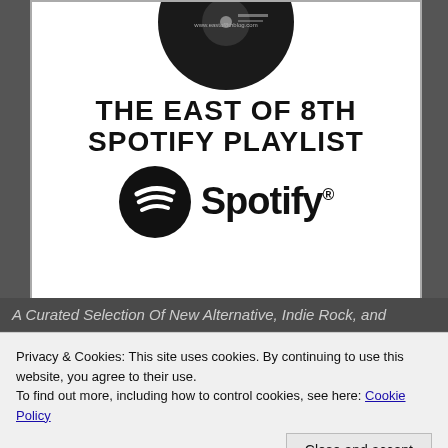[Figure (logo): The East of 8th Spotify Playlist promotional image showing a circular vinyl-style logo at the top, bold text reading 'THE EAST OF 8TH SPOTIFY PLAYLIST', and the Spotify logo (circle with sound waves icon) alongside 'Spotify' wordmark with registered trademark symbol.]
A Curated Selection Of New Alternative, Indie Rock, and
Privacy & Cookies: This site uses cookies. By continuing to use this website, you agree to their use.
To find out more, including how to control cookies, see here: Cookie Policy
Close and accept